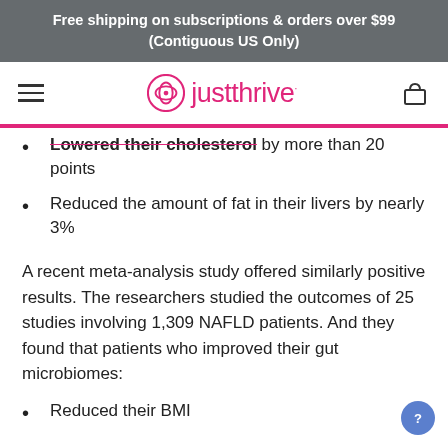Free shipping on subscriptions & orders over $99
(Contiguous US Only)
[Figure (logo): Just Thrive logo with hamburger menu and cart icon]
Lowered their cholesterol by more than 20 points
Reduced the amount of fat in their livers by nearly 3%
A recent meta-analysis study offered similarly positive results. The researchers studied the outcomes of 25 studies involving 1,309 NAFLD patients. And they found that patients who improved their gut microbiomes:
Reduced their BMI